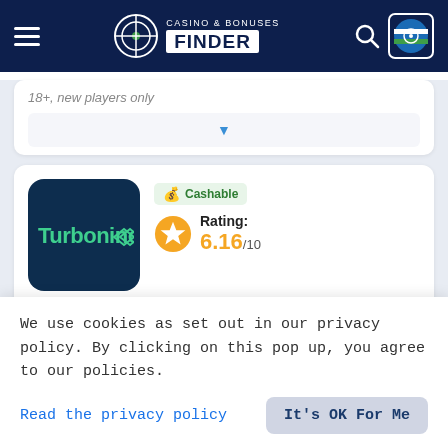Casino & Bonuses Finder
18+, new players only
[Figure (logo): Turbonino casino logo - dark navy background with green Turbonino text and stylized double-arrow icon]
Cashable
Rating: 6.16/10
Available for players from Sierra Leone
Welcome Bonus: 100
We use cookies as set out in our privacy policy. By clicking on this pop up, you agree to our policies.
Read the privacy policy
It's OK For Me